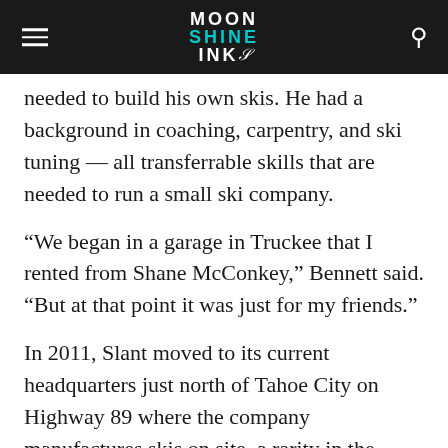MOON SHINE INK
needed to build his own skis. He had a background in coaching, carpentry, and ski tuning — all transferrable skills that are needed to run a small ski company.
“We began in a garage in Truckee that I rented from Shane McConkey,” Bennett said. “But at that point it was just for my friends.”
In 2011, Slant moved to its current headquarters just north of Tahoe City on Highway 89 where the company manufactures skis on site, a rarity in the Golden State.